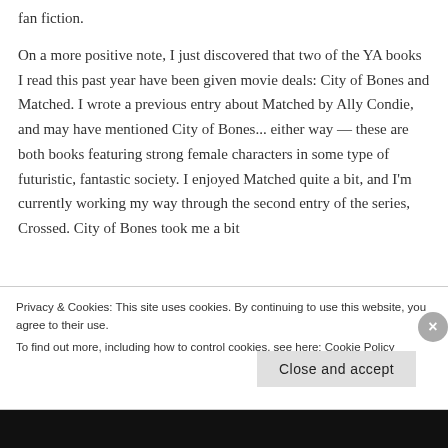fan fiction.
On a more positive note, I just discovered that two of the YA books I read this past year have been given movie deals: City of Bones and Matched. I wrote a previous entry about Matched by Ally Condie, and may have mentioned City of Bones... either way — these are both books featuring strong female characters in some type of futuristic, fantastic society. I enjoyed Matched quite a bit, and I'm currently working my way through the second entry of the series, Crossed. City of Bones took me a bit
Privacy & Cookies: This site uses cookies. By continuing to use this website, you agree to their use.
To find out more, including how to control cookies, see here: Cookie Policy
Close and accept